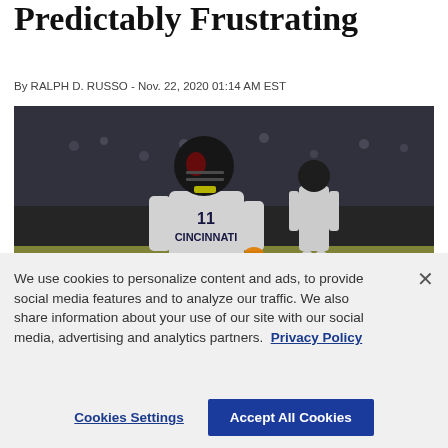Predictably Frustrating
By RALPH D. RUSSO - Nov. 22, 2020 01:14 AM EST
[Figure (photo): Cincinnati Bearcats football player in white uniform and black helmet carrying the ball during a night game, with another player visible in background]
We use cookies to personalize content and ads, to provide social media features and to analyze our traffic. We also share information about your use of our site with our social media, advertising and analytics partners. Privacy Policy
Cookies Settings | Accept All Cookies